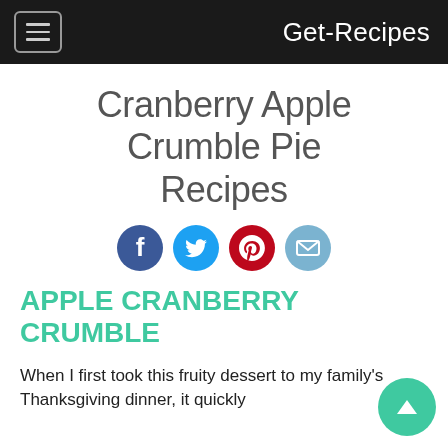Get-Recipes
Cranberry Apple Crumble Pie Recipes
[Figure (other): Social sharing icons: Facebook, Twitter, Pinterest, Email]
APPLE CRANBERRY CRUMBLE
When I first took this fruity dessert to my family's Thanksgiving dinner, it quickly